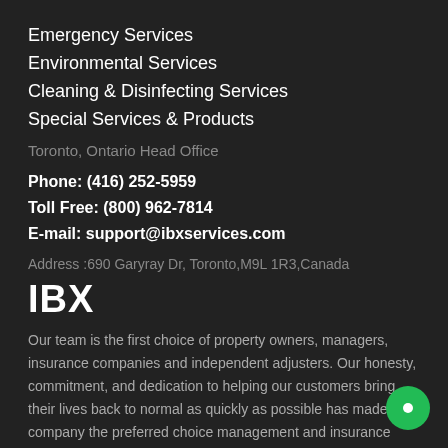Emergency Services
Environmental Services
Cleaning & Disinfecting Services
Special Services & Products
Toronto, Ontario Head Office
Phone: (416) 252-5959
Toll Free: (800) 962-7814
E-mail: support@ibxservices.com
Address :690 Garyray Dr, Toronto,M9L 1R3,Canada
IBX
Our team is the first choice of property owners, managers, insurance companies and independent adjusters. Our honesty, commitment, and dedication to helping our customers bring their lives back to normal as quickly as possible has made our company the preferred choice management and insurance companies!